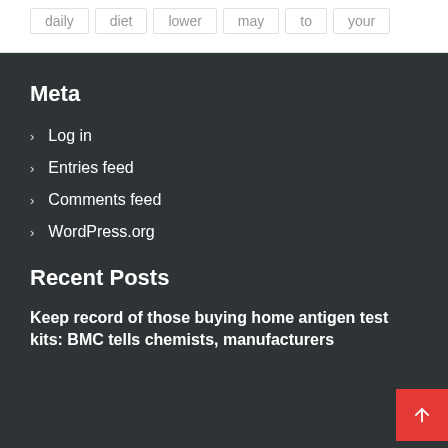daily
diet
lower
may
to
your
Meta
Log in
Entries feed
Comments feed
WordPress.org
Recent Posts
Keep record of those buying home antigen test kits: BMC tells chemists, manufacturers